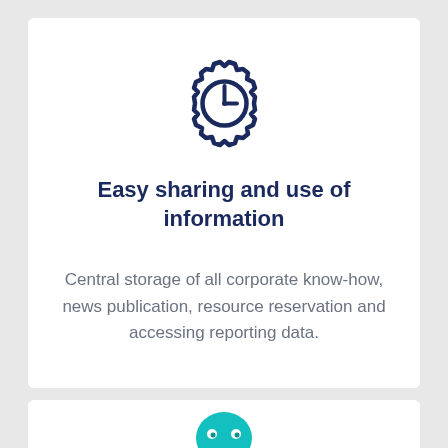[Figure (illustration): Dark navy gear/cog icon with a clock face inside (letter L shape for clock hands), representing time or scheduling settings]
Easy sharing and use of information
Central storage of all corporate know-how, news publication, resource reservation and accessing reporting data.
[Figure (illustration): Teal/cyan speech bubble or chat icon, partially visible at the bottom of the page]